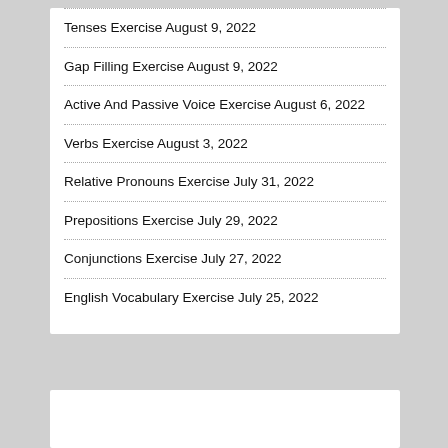Tenses Exercise August 9, 2022
Gap Filling Exercise August 9, 2022
Active And Passive Voice Exercise August 6, 2022
Verbs Exercise August 3, 2022
Relative Pronouns Exercise July 31, 2022
Prepositions Exercise July 29, 2022
Conjunctions Exercise July 27, 2022
English Vocabulary Exercise July 25, 2022